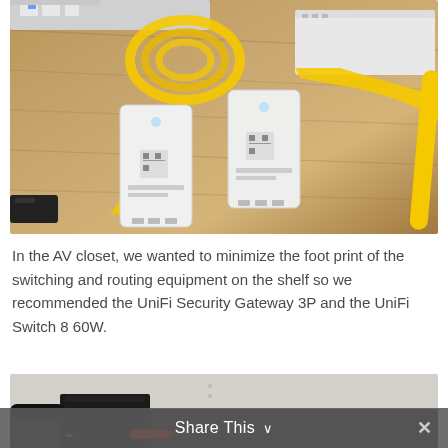[Figure (photo): Networking equipment on a wooden floor: two white PoE injector/outdoor access point units connected with yellow ethernet cables, a flat white wireless access point in the top right, a coil of yellow ethernet cable in the background, and networking gear at the top.]
In the AV closet, we wanted to minimize the foot print of the switching and routing equipment on the shelf so we recommended the UniFi Security Gateway 3P and the UniFi Switch 8 60W.
[Figure (photo): Partial view of a black network switch or device mounted on a white wall, with a red cable visible at the bottom.]